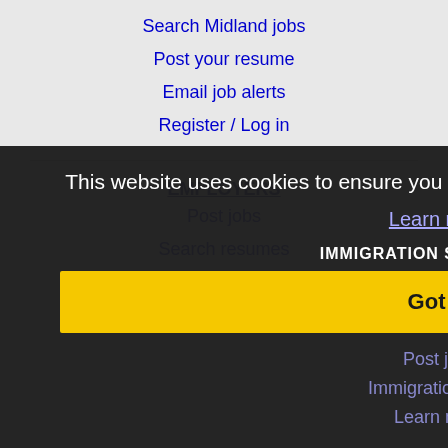Search Midland jobs
Post your resume
Email job alerts
Register / Log in
EMPLOYERS
Post jobs
Search resumes
Email resume alerts
This website uses cookies to ensure you get the best experience on our website.
Learn more
IMMIGRATION SPECIALISTS
Got it!
Post jobs
Immigration FAQs
Learn more